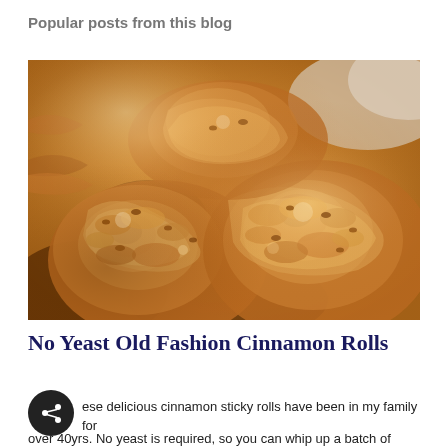Popular posts from this blog
[Figure (photo): Close-up photo of sticky cinnamon rolls with caramelized sugar topping]
No Yeast Old Fashion Cinnamon Rolls
ese delicious cinnamon sticky rolls have been in my family for over 40yrs. No yeast is required, so you can whip up a batch of